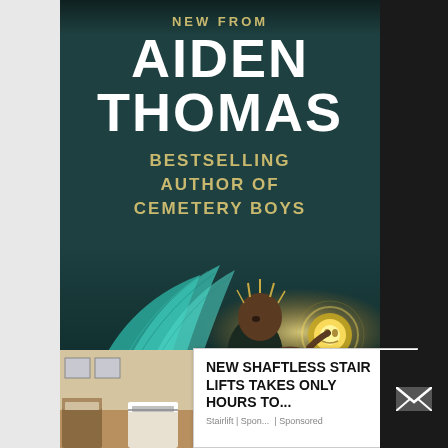[Figure (illustration): Book cover for a novel by Aiden Thomas, with dark teal background and illustrated character with dragon wings holding a glowing skull, plus overlaid advertisement popup]
NEW FROM
AIDEN THOMAS
BESTSELLING AUTHOR OF CEMETERY BOYS
NEW SHAFTLESS STAIR LIFTS TAKES ONLY HOURS TO...
Stairlift | Spon... | Sponsored